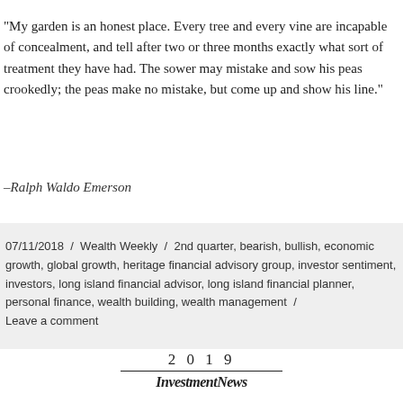“My garden is an honest place. Every tree and every vine are incapable of concealment, and tell after two or three months exactly what sort of treatment they have had. The sower may mistake and sow his peas crookedly; the peas make no mistake, but come up and show his line.”
–Ralph Waldo Emerson
07/11/2018 / Wealth Weekly / 2nd quarter, bearish, bullish, economic growth, global growth, heritage financial advisory group, investor sentiment, investors, long island financial advisor, long island financial planner, personal finance, wealth building, wealth management / Leave a comment
[Figure (logo): 2019 InvestmentNews logo with year above brand name separated by a horizontal rule]